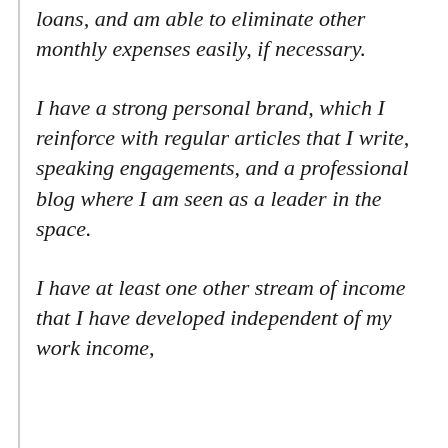loans, and am able to eliminate other monthly expenses easily, if necessary.
I have a strong personal brand, which I reinforce with regular articles that I write, speaking engagements, and a professional blog where I am seen as a leader in the space.
I have at least one other stream of income that I have developed independent of my work income,